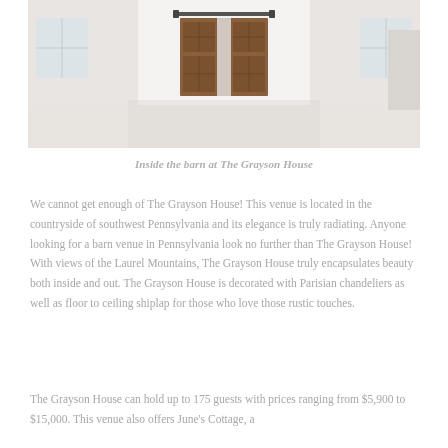[Figure (photo): Interior of a white barn space with wooden sliding doors with glass panels in the center background. The space has white walls and white floor, with windows on either side. A black barn door track is visible above the wooden doors.]
Inside the barn at The Grayson House
We cannot get enough of The Grayson House!  This venue is located in the countryside of southwest Pennsylvania and its elegance is truly radiating.  Anyone looking for a barn venue in Pennsylvania look no further than The Grayson House!  With views of the Laurel Mountains, The Grayson House truly encapsulates beauty both inside and out.  The Grayson House is decorated with Parisian chandeliers as well as floor to ceiling shiplap for those who love those rustic touches.
The Grayson House can hold up to 175 guests with prices ranging from $5,900 to $15,000.  This venue also offers June's Cottage, a